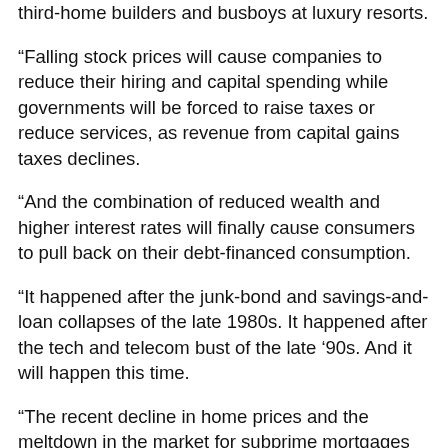third-home builders and busboys at luxury resorts.
"Falling stock prices will cause companies to reduce their hiring and capital spending while governments will be forced to raise taxes or reduce services, as revenue from capital gains taxes declines.
"And the combination of reduced wealth and higher interest rates will finally cause consumers to pull back on their debt-financed consumption.
"It happened after the junk-bond and savings-and-loan collapses of the late 1980s. It happened after the tech and telecom bust of the late '90s. And it will happen this time.
"The recent decline in home prices and the meltdown in the market for subprime mortgages are the first signs that the air is coming out of the credit bubble. Already, those factors have shaved half a percentage point off the economic growth rate. And you can be sure that there will be a much larger impact on jobs and incomes from a broad decline in stock and bond prices, a sharp tightening of credit and the turmoil